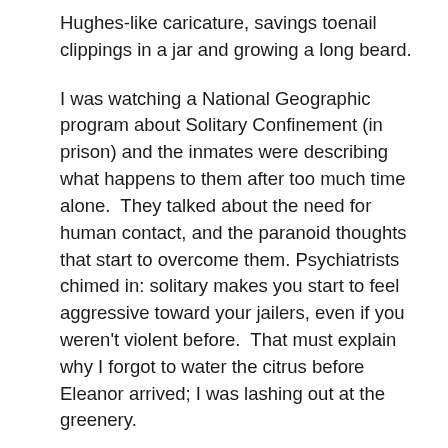Hughes-like caricature, savings toenail clippings in a jar and growing a long beard.
I was watching a National Geographic program about Solitary Confinement (in prison) and the inmates were describing what happens to them after too much time alone.  They talked about the need for human contact, and the paranoid thoughts that start to overcome them.  Psychiatrists chimed in: solitary makes you start to feel aggressive toward your jailers, even if you weren't violent before.  That must explain why I forgot to water the citrus before Eleanor arrived; I was lashing out at the greenery.
I now pity the telephone company guy who is scheduled to come here to look at my DSL line.  If I don't get out to the mall to walk around and see some humans (OK...